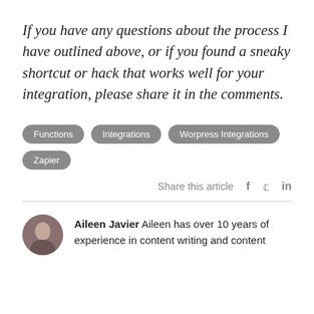If you have any questions about the process I have outlined above, or if you found a sneaky shortcut or hack that works well for your integration, please share it in the comments.
Functions
Integrations
Worpress Integrations
Zapier
Share this article  f  y  in
Aileen Javier Aileen has over 10 years of experience in content writing and content